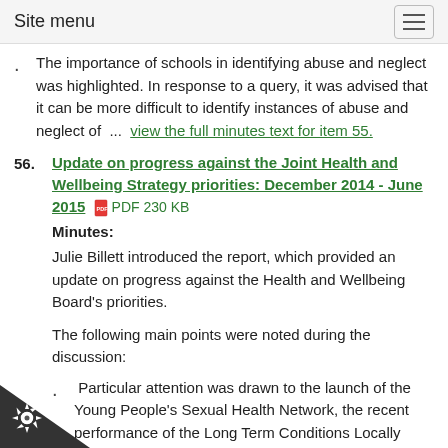Site menu
The importance of schools in identifying abuse and neglect was highlighted. In response to a query, it was advised that it can be more difficult to identify instances of abuse and neglect of  ...  view the full minutes text for item 55.
56. Update on progress against the Joint Health and Wellbeing Strategy priorities: December 2014 - June 2015  PDF 230 KB
Minutes:
Julie Billett introduced the report, which provided an update on progress against the Health and Wellbeing Board's priorities.
The following main points were noted during the discussion:
Particular attention was drawn to the launch of the Young People's Sexual Health Network, the recent performance of the Long Term Conditions Locally Commissioned Service, and the forthcoming review of mental health promotion